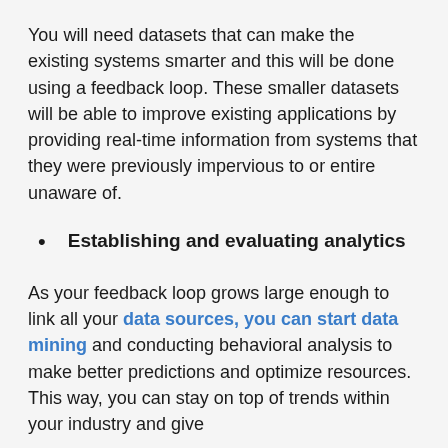You will need datasets that can make the existing systems smarter and this will be done using a feedback loop. These smaller datasets will be able to improve existing applications by providing real-time information from systems that they were previously impervious to or entire unaware of.
Establishing and evaluating analytics
As your feedback loop grows large enough to link all your data sources, you can start data mining and conducting behavioral analysis to make better predictions and optimize resources. This way, you can stay on top of trends within your industry and give